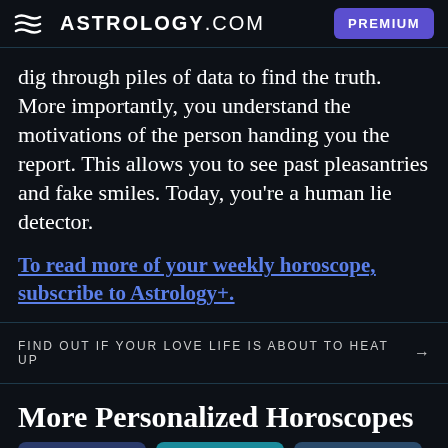ASTROLOGY.COM  PREMIUM
dig through piles of data to find the truth. More importantly, you understand the motivations of the person handing you the report. This allows you to see past pleasantries and fake smiles. Today, you're a human lie detector.
To read more of your weekly horoscope, subscribe to Astrology+.
FIND OUT IF YOUR LOVE LIFE IS ABOUT TO HEAT UP →
More Personalized Horoscopes
[Figure (other): Three partially visible card thumbnails at the bottom of the page]